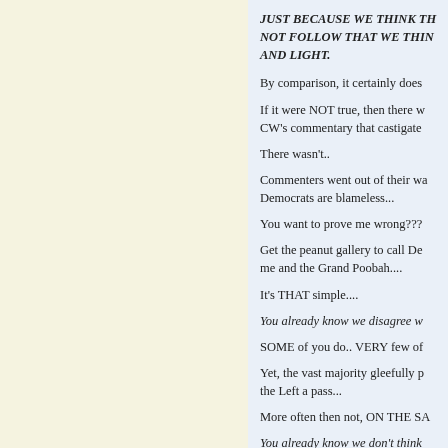JUST BECAUSE WE THINK TH... NOT FOLLOW THAT WE THIN... AND LIGHT.
By comparison, it certainly does...
If it were NOT true, then there w... CW's commentary that castigate...
There wasn't..
Commenters went out of their wa... Democrats are blameless...
You want to prove me wrong???...
Get the peanut gallery to call De... me and the Grand Poobah....
It's THAT simple....
You already know we disagree w...
SOME of you do.. VERY few of...
Yet, the vast majority gleefully p... the Left a pass...
More often then not, ON THE SA...
You already know we don't think...